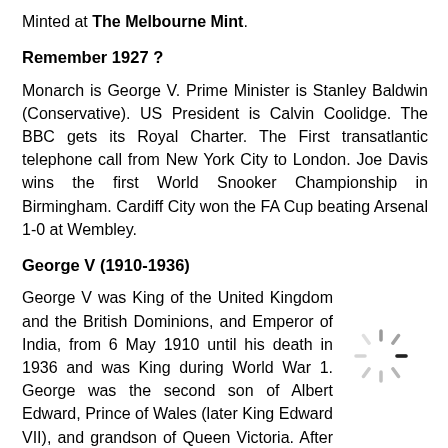Minted at The Melbourne Mint.
Remember 1927 ?
Monarch is George V. Prime Minister is Stanley Baldwin (Conservative). US President is Calvin Coolidge. The BBC gets its Royal Charter. The First transatlantic telephone call from New York City to London. Joe Davis wins the first World Snooker Championship in Birmingham. Cardiff City won the FA Cup beating Arsenal 1-0 at Wembley.
George V (1910-1936)
George V was King of the United Kingdom and the British Dominions, and Emperor of India, from 6 May 1910 until his death in 1936 and was King during World War 1. George was the second son of Albert Edward, Prince of Wales (later King Edward VII), and grandson of Queen Victoria. After his death, he was succeeded by his...
[Figure (other): Loading spinner icon]